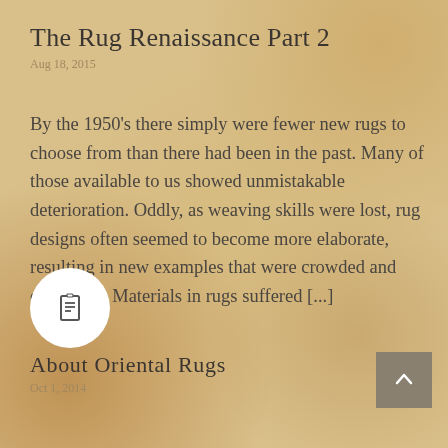The Rug Renaissance Part 2
Aug 18, 2015
By the 1950's there simply were fewer new rugs to choose from than there had been in the past. Many of those available to us showed unmistakable deterioration. Oddly, as weaving skills were lost, rug designs often seemed to become more elaborate, resulting in new examples that were crowded and confusing. Materials in rugs suffered [...]
[Figure (illustration): White circle icon with a document/file icon inside]
[Figure (illustration): Gray square scroll-to-top button with upward chevron arrow]
About Oriental Rugs
Oct 1, 2014